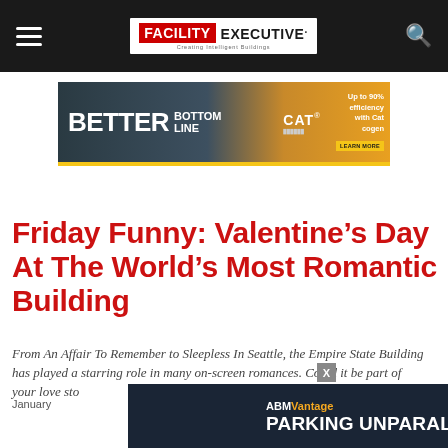Facility Executive — Creating Intelligent Buildings
[Figure (infographic): CAT Better Bottom Line advertisement banner — Up to 90% efficiency with Cat cogen]
Friday Funny: Valentine’s Day At The World’s Most Romantic Building
From An Affair To Remember to Sleepless In Seattle, the Empire State Building has played a starring role in many on-screen romances. Could it be part of your love story?
January
[Figure (infographic): ABM Vantage — Parking Unparalleled advertisement banner with Learn More button]